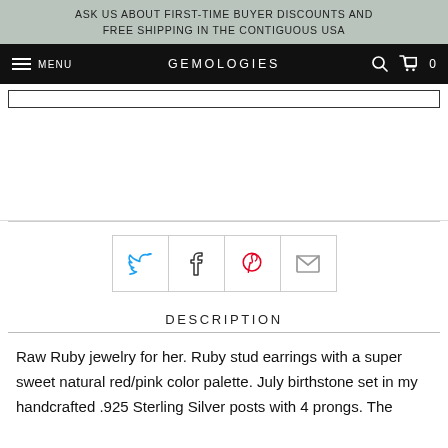ASK US ABOUT FIRST-TIME BUYER DISCOUNTS AND FREE SHIPPING IN THE CONTIGUOUS USA
MENU  GEMOLOGIES  0
DESCRIPTION
Raw Ruby jewelry for her. Ruby stud earrings with a super sweet natural red/pink color palette. July birthstone set in my handcrafted .925 Sterling Silver posts with 4 prongs. The